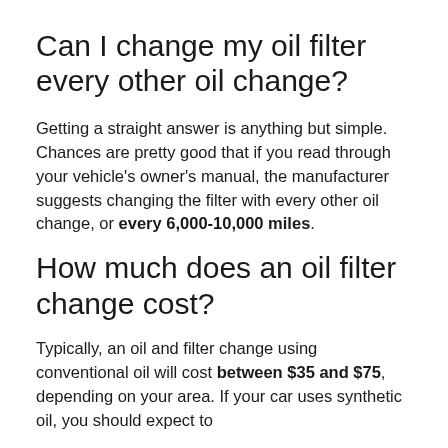Can I change my oil filter every other oil change?
Getting a straight answer is anything but simple. Chances are pretty good that if you read through your vehicle’s owner’s manual, the manufacturer suggests changing the filter with every other oil change, or every 6,000-10,000 miles.
How much does an oil filter change cost?
Typically, an oil and filter change using conventional oil will cost between $35 and $75, depending on your area. If your car uses synthetic oil, you should expect to